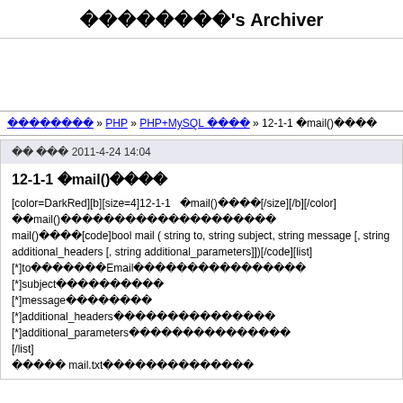????????'s Archiver
???????? » PHP » PHP+MySQL ???? » 12-1-1 ?mail()????
?? ??? 2011-4-24 14:04
12-1-1 ?mail()????
[color=DarkRed][b][size=4]12-1-1  ?mail()????[/size][/b][/color]
??mail()????????????????????????
mail()????[code]bool mail ( string to, string subject, string message [, string additional_headers [, string additional_parameters]])[/code][list]
[*]to???????Email??????????????????
[*]subject??????????
[*]message????????
[*]additional_headers?????????????????
[*]additional_parameters????????????????
[/list]